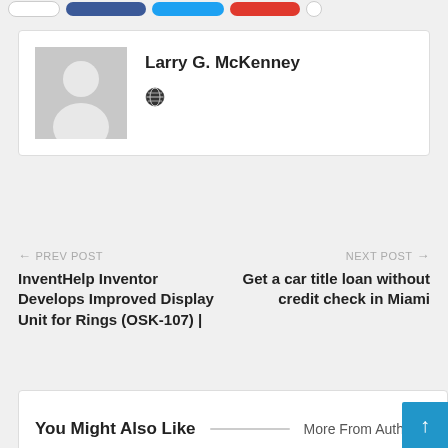[Figure (screenshot): Social share buttons: white rounded button, Facebook blue button, Twitter light-blue button, red button, white circle button]
[Figure (screenshot): Author profile box with gray placeholder avatar and name Larry G. McKenney with globe/website icon]
Larry G. McKenney
← PREV POST
InventHelp Inventor Develops Improved Display Unit for Rings (OSK-107) |
NEXT POST →
Get a car title loan without credit check in Miami
You Might Also Like   More From Auth